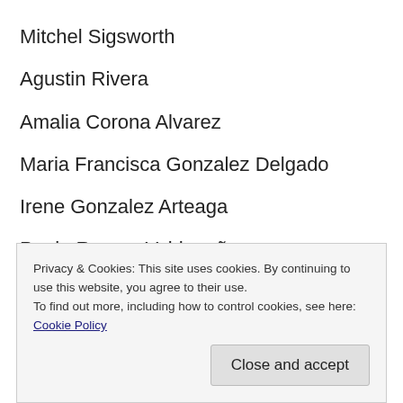Mitchel Sigsworth
Agustin Rivera
Amalia Corona Alvarez
Maria Francisca Gonzalez Delgado
Irene Gonzalez Arteaga
Paula Roman Valdepeña
Ran Ji
Delfina Padilla Palomino
Miguel Fernando Moreno Gonzalez
Privacy & Cookies: This site uses cookies. By continuing to use this website, you agree to their use.
To find out more, including how to control cookies, see here: Cookie Policy
Close and accept